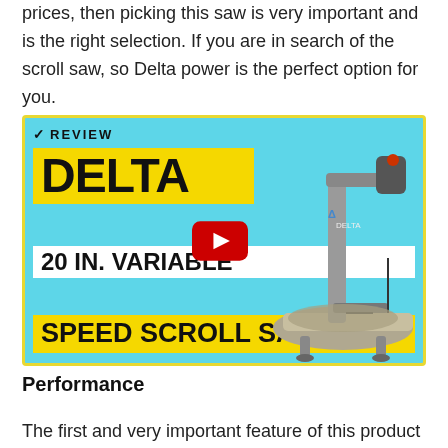prices, then picking this saw is very important and is the right selection. If you are in search of the scroll saw, so Delta power is the perfect option for you.
[Figure (screenshot): YouTube video thumbnail for 'Delta 20 In. Variable Speed Scroll Saw Review' showing a scroll saw on a cyan background with yellow and white title text and a red YouTube play button overlay.]
Performance
The first and very important feature of this product is